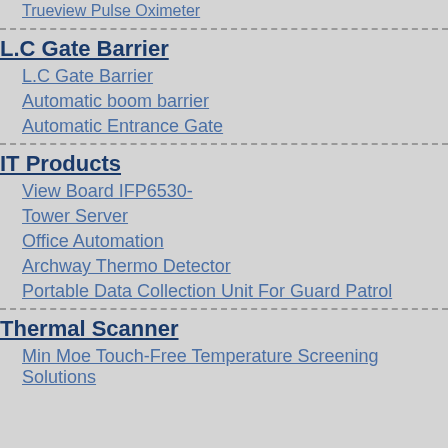Trueview Pulse Oximeter
L.C Gate Barrier
L.C Gate Barrier
Automatic boom barrier
Automatic Entrance Gate
IT Products
View Board IFP6530-
Tower Server
Office Automation
Archway Thermo Detector
Portable Data Collection Unit For Guard Patrol
Thermal Scanner
Min Moe Touch-Free Temperature Screening Solutions